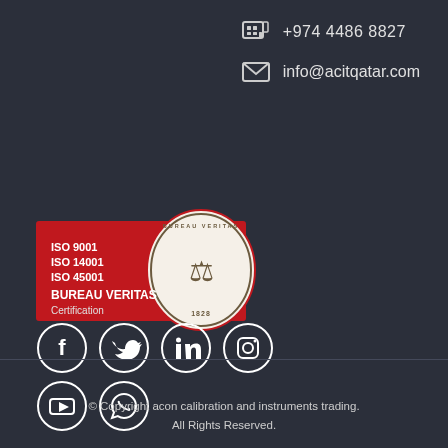+974 4486 8827
info@acitqatar.com
[Figure (logo): Bureau Veritas Certification logo with ISO 9001, ISO 14001, ISO 45001 text on red background and Bureau Veritas seal dated 1828]
[Figure (other): Social media icons: Facebook, Twitter, LinkedIn, Instagram, YouTube, WhatsApp]
© Copyright acon calibration and instruments trading. All Rights Reserved.